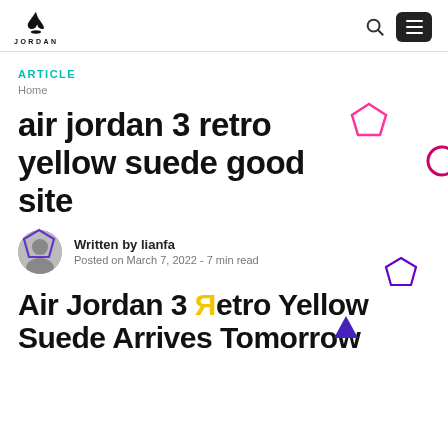JORDAN (logo header with search and menu)
ARTICLE
Home
air jordan 3 retro yellow suede good site
Written by lianfa
Posted on March 7, 2022 -  7 min read
Air Jordan 3 Retro Yellow Suede Arrives Tomorrow